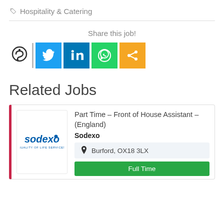🏷 Hospitality & Catering
Share this job!
[Figure (logo): Social sharing buttons: Sodexo logo, vertical bar, Twitter (blue), LinkedIn (dark blue), WhatsApp (green), Share (orange)]
Related Jobs
[Figure (logo): Sodexo company logo with text 'sodexo' and 'QUALITY OF LIFE SERVICES']
Part Time – Front of House Assistant – (England)
Sodexo
Burford, OX18 3LX
Full Time